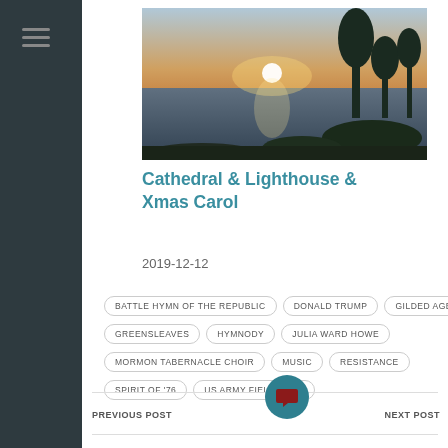[Figure (photo): Landscape photo showing sunset or sunrise over water/coast with trees silhouetted in background]
Cathedral & Lighthouse & Xmas Carol
2019-12-12
BATTLE HYMN OF THE REPUBLIC
DONALD TRUMP
GILDED AGE
GREENSLEAVES
HYMNODY
JULIA WARD HOWE
MORMON TABERNACLE CHOIR
MUSIC
RESISTANCE
SPIRIT OF '76
US ARMY FIELD BAND
PREVIOUS POST
NEXT POST